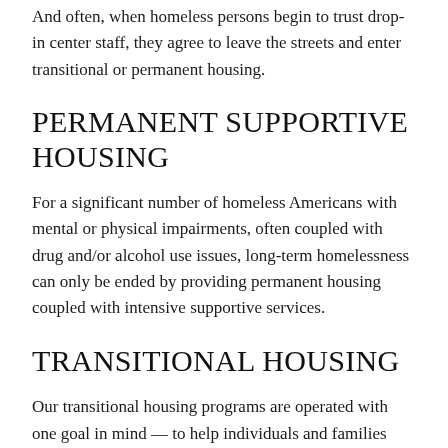And often, when homeless persons begin to trust drop-in center staff, they agree to leave the streets and enter transitional or permanent housing.
PERMANENT SUPPORTIVE HOUSING
For a significant number of homeless Americans with mental or physical impairments, often coupled with drug and/or alcohol use issues, long-term homelessness can only be ended by providing permanent housing coupled with intensive supportive services.
TRANSITIONAL HOUSING
Our transitional housing programs are operated with one goal in mind — to help individuals and families obtain permanent housing as quickly as possible. Our programs serve diverse populations — from women and children who are victims of